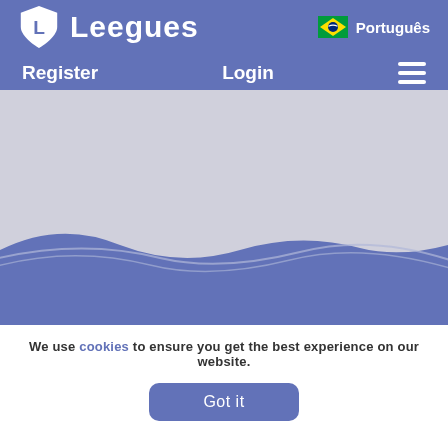Leegues - Português - Register - Login
[Figure (screenshot): Hero area with light grey background and blue wave decoration at the bottom]
We use cookies to ensure you get the best experience on our website.
Got it